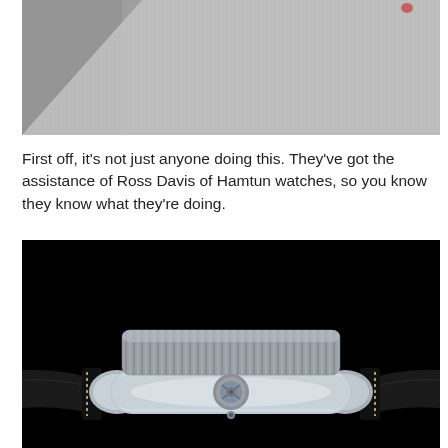[Figure (photo): Top portion of a photo showing a watch on a gray felt/carpet surface, partially cropped]
First off, it's not just anyone doing this. They've got the assistance of Ross Davis of Hamtun watches, so you know they know what they're doing.
[Figure (photo): Side profile photo of a stainless steel watch case with a textured bezel, crown visible in the center, and dark leather strap on a black background]